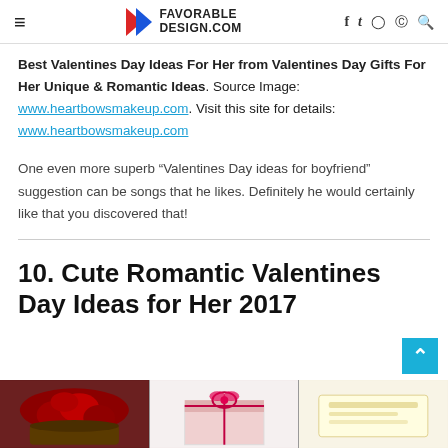FAVORABLE DESIGN.COM
Best Valentines Day Ideas For Her from Valentines Day Gifts For Her Unique & Romantic Ideas. Source Image: www.heartbowsmakeup.com. Visit this site for details: www.heartbowsmakeup.com
One even more superb “Valentines Day ideas for boyfriend” suggestion can be songs that he likes. Definitely he would certainly like that you discovered that!
10. Cute Romantic Valentines Day Ideas for Her 2017
[Figure (photo): Three photo thumbnails of Valentine's Day gift arrangements including roses and wrapped presents]